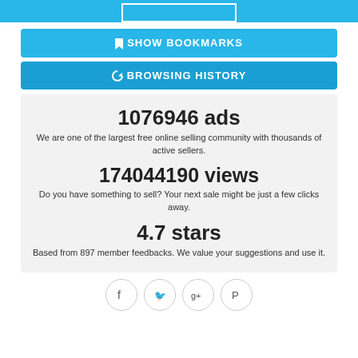[Figure (screenshot): Top image strip with a white rectangle button on cyan/blue background]
🔖 SHOW BOOKMARKS
↺ BROWSING HISTORY
1076946 ads
We are one of the largest free online selling community with thousands of active sellers.
174044190 views
Do you have something to sell? Your next sale might be just a few clicks away.
4.7 stars
Based from 897 member feedbacks. We value your suggestions and use it.
[Figure (infographic): Social media icons row: Facebook, Twitter, Google+, Pinterest]